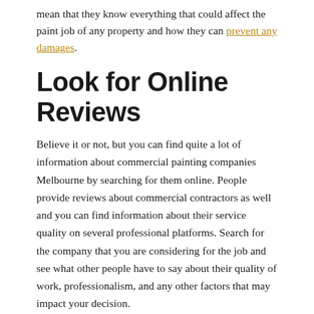mean that they know everything that could affect the paint job of any property and how they can prevent any damages.
Look for Online Reviews
Believe it or not, but you can find quite a lot of information about commercial painting companies Melbourne by searching for them online. People provide reviews about commercial contractors as well and you can find information about their service quality on several professional platforms. Search for the company that you are considering for the job and see what other people have to say about their quality of work, professionalism, and any other factors that may impact your decision.
Ensure Proper Licensing and Insurance for Commercial Work